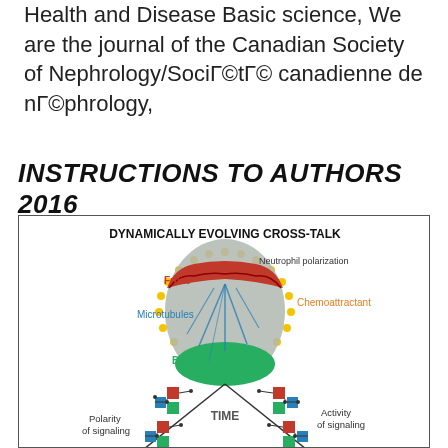Health and Disease Basic science, We are the journal of the Canadian Society of Nephrology/SociГ©tГ© canadienne de nГ©phrology,
INSTRUCTIONS TO AUTHORS 2016
[Figure (illustration): Diagram titled 'DYNAMICALLY EVOLVING CROSS-TALK' showing a neutrophil cell with labeled parts: Front (red), Back (green), Microtubules (blue lines inside grey cell body), surrounded by yellow dots representing Chemoattractant. Below, two sets of colored squares (red, blue, green) connected by lines showing 'Polarity of signaling' on the left and 'Activity of signaling' on the right, with 'TIME' label in the center, depicted at different time points along diagonal lines.]